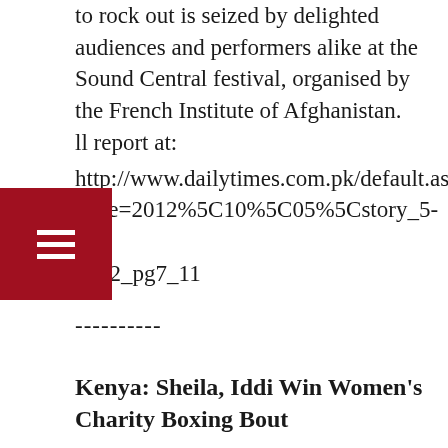to rock out is seized by delighted audiences and performers alike at the Sound Central festival, organised by the French Institute of Afghanistan. ll report at: http://www.dailytimes.com.pk/default.asp?page=2012%5C10%5C05%5Cstory_5-10-2012_pg7_11
----------
Kenya: Sheila, Iddi Win Women's Charity Boxing Bout
BY CAPITAL LIFESTYLE, 4 OCTOBER 2012
Put a group of women in a boxing ring and they will be first to forget that they were screaming during practice, and proceed to tear you apart.